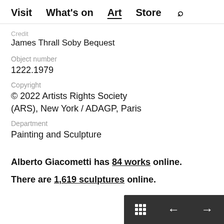Visit  What's on  Art  Store  🔍
Credit
James Thrall Soby Bequest
Object number
1222.1979
Copyright
© 2022 Artists Rights Society (ARS), New York / ADAGP, Paris
Department
Painting and Sculpture
Alberto Giacometti has 84 works online.
There are 1,619 sculptures online.